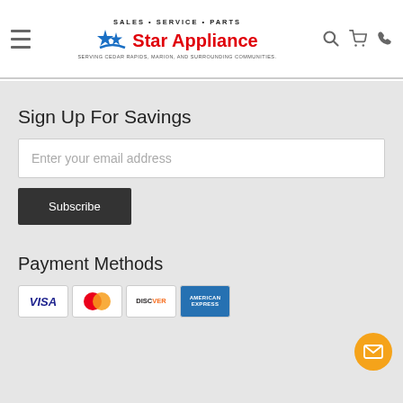SALES · SERVICE · PARTS — Star Appliance — SERVING CEDAR RAPIDS, MARION, AND SURROUNDING COMMUNITIES.
Sign Up For Savings
Enter your email address
Subscribe
Payment Methods
[Figure (other): Payment method logos: Visa, MasterCard, Discover, American Express]